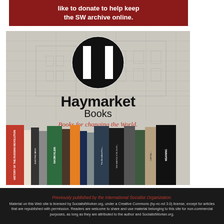[Figure (other): Red banner with white bold text: 'like to donate to help keep the SW archive online.']
[Figure (illustration): Haymarket Books advertisement with logo (bold H in a circle), text 'Haymarket Books' and tagline 'Books for changing the World.' in red italic, over blueprint architectural drawing background, with a row of book spines at the bottom.]
Previously published by the International Socialist Organization. Material on this Web site is licensed by SocialistWorker.org, under a Creative Commons (by-nc-nd 3.0) license, except for articles that are republished with permission. Readers are welcome to share and use material belonging to this site for non-commercial purposes, as long as they are attributed to the author and SocialistWorker.org.